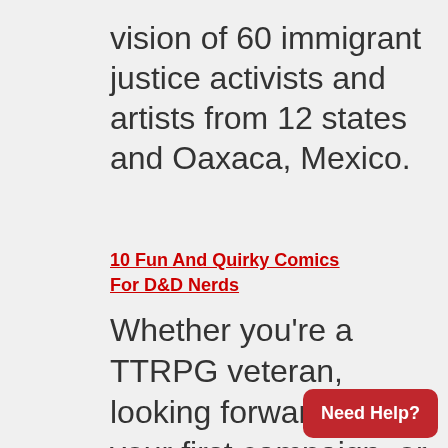vision of 60 immigrant justice activists and artists from 12 states and Oaxaca, Mexico.
10 Fun And Quirky Comics For D&D Nerds
Whether you're a TTRPG veteran, looking forward to your first campaign, or Stranger Things just has you curious, these